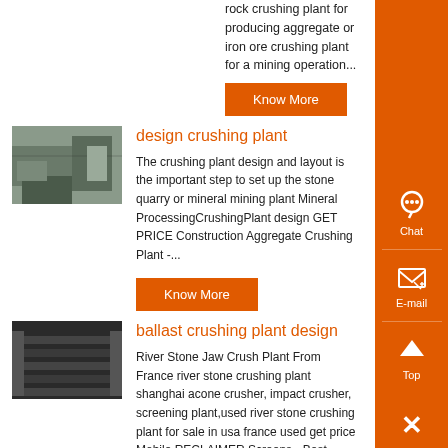rock crushing plant for producing aggregate or iron ore crushing plant for a mining operation...
Know More
[Figure (photo): Construction crushing plant machinery photo]
design crushing plant
The crushing plant design and layout is the important step to set up the stone quarry or mineral mining plant Mineral ProcessingCrushingPlant design GET PRICE Construction Aggregate Crushing Plant -...
Know More
[Figure (photo): Ballast crushing plant design machinery photo]
ballast crushing plant design
River Stone Jaw Crush Plant From France river stone crushing plant shanghai acone crusher, impact crusher, screening plant,used river stone crushing plant for sale in usa france used get price Mobile RECLAIMER Screens - Bost Group...
Know More
[Figure (photo): Design jaw crusher plant industrial 3D photo]
DESIGN JAW CRUSHER PLANT INDUSTRIAL 3D ,